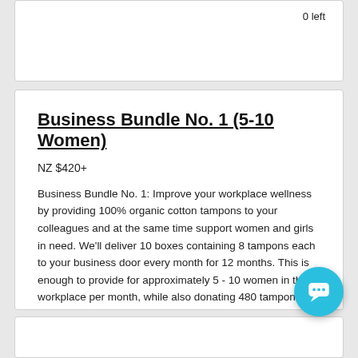0 left
Business Bundle No. 1 (5-10 Women)
NZ $420+
Business Bundle No. 1: Improve your workplace wellness by providing 100% organic cotton tampons to your colleagues and at the same time support women and girls in need. We'll deliver 10 boxes containing 8 tampons each to your business door every month for 12 months. This is enough to provide for approximately 5 - 10 women in the workplace per month, while also donating 480 tampons to Aviva, directly supporting up to 60 women in need each year.
18 left